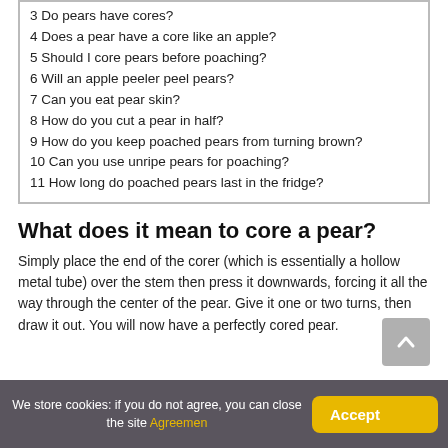3 Do pears have cores?
4 Does a pear have a core like an apple?
5 Should I core pears before poaching?
6 Will an apple peeler peel pears?
7 Can you eat pear skin?
8 How do you cut a pear in half?
9 How do you keep poached pears from turning brown?
10 Can you use unripe pears for poaching?
11 How long do poached pears last in the fridge?
What does it mean to core a pear?
Simply place the end of the corer (which is essentially a hollow metal tube) over the stem then press it downwards, forcing it all the way through the center of the pear. Give it one or two turns, then draw it out. You will now have a perfectly cored pear.
We store cookies: if you do not agree, you can close the site Agreemen  Accept